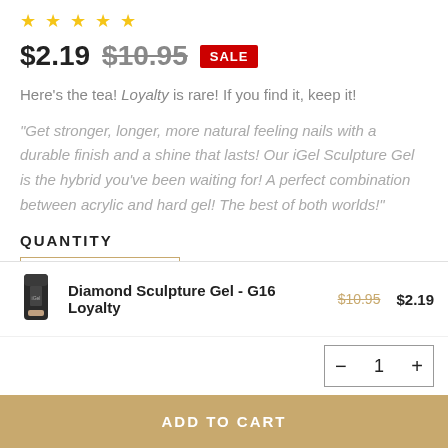[Figure (other): Five gold star rating icons]
$2.19  $10.95  SALE
Here's the tea! Loyalty is rare! If you find it, keep it!
"Get stronger, longer, more natural feeling nails with a durable finish and a shine that lasts! Our iGel Sculpture Gel is the hybrid you've been waiting for! A perfect combination between acrylic and hard gel! The best of both worlds!"
QUANTITY
- 1 +
[Figure (photo): Small product image of Diamond Sculpture Gel tube]
Diamond Sculpture Gel - G16 Loyalty  $10.95  $2.19
− 1 +
ADD TO CART